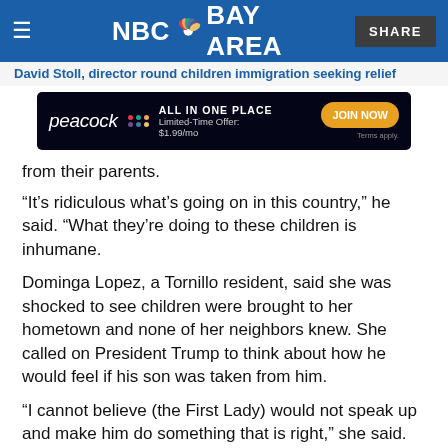NBC Bay Area
[Figure (screenshot): Peacock advertisement banner: ALL IN ONE PLACE, Limited-Time Offer: $1.99/mo, JOIN NOW button]
from their parents.
“It’s ridiculous what’s going on in this country,” he said. “What they’re doing to these children is inhumane.
Dominga Lopez, a Tornillo resident, said she was shocked to see children were brought to her hometown and none of her neighbors knew. She called on President Trump to think about how he would feel if his son was taken from him.
“I cannot believe (the First Lady) would not speak up and make him do something that is right,” she said. “This is very wrong. And I don’t care what they say. They have misgusted